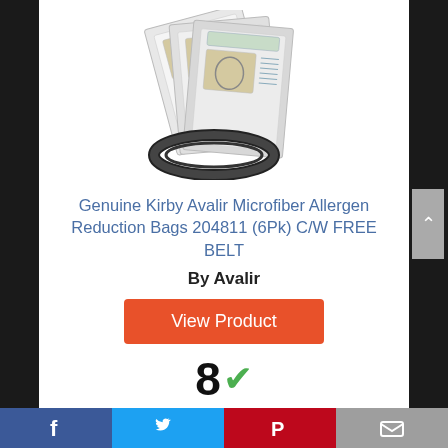[Figure (photo): Product photo: vacuum bags and belt for Kirby Avalir]
Genuine Kirby Avalir Microfiber Allergen Reduction Bags 204811 (6Pk) C/W FREE BELT
By Avalir
View Product
8 ✓ Score